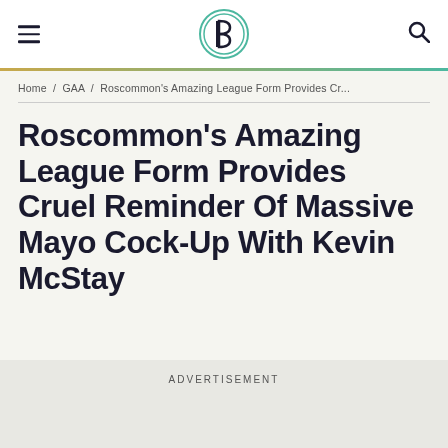≡  [B logo]  🔍
Home / GAA / Roscommon's Amazing League Form Provides Cr...
Roscommon's Amazing League Form Provides Cruel Reminder Of Massive Mayo Cock-Up With Kevin McStay
ADVERTISEMENT